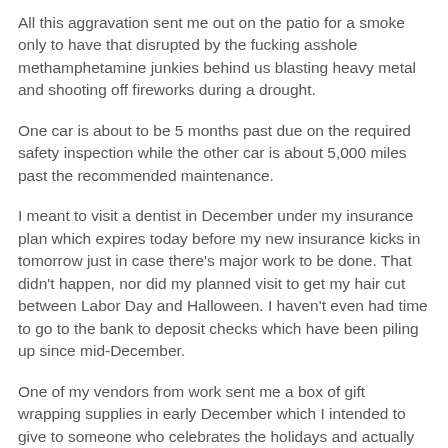All this aggravation sent me out on the patio for a smoke only to have that disrupted by the fucking asshole methamphetamine junkies behind us blasting heavy metal and shooting off fireworks during a drought.
One car is about to be 5 months past due on the required safety inspection while the other car is about 5,000 miles past the recommended maintenance.
I meant to visit a dentist in December under my insurance plan which expires today before my new insurance kicks in tomorrow just in case there's major work to be done. That didn't happen, nor did my planned visit to get my hair cut between Labor Day and Halloween. I haven't even had time to go to the bank to deposit checks which have been piling up since mid-December.
One of my vendors from work sent me a box of gift wrapping supplies in early December which I intended to give to someone who celebrates the holidays and actually gives gifts and that's still here, now safely in storage for another 11 months or so. I also have a huge box of candy cluttering up